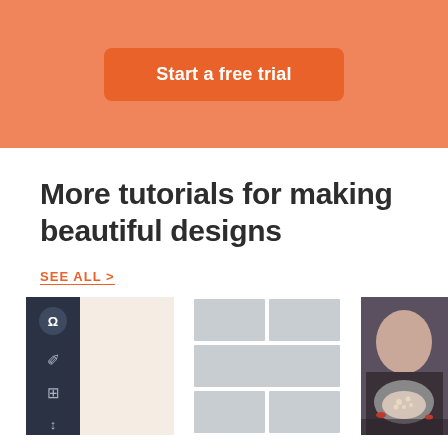[Figure (screenshot): Orange banner background with a darker orange rounded button labeled 'Start a free trial']
More tutorials for making beautiful designs
SEE ALL >
[Figure (screenshot): Three thumbnail images side by side: first shows a dark sidebar UI tool panel on a beige background, second shows a photo collage grid layout in gray placeholders, third shows a photo of a person holding a bowl of cereal]